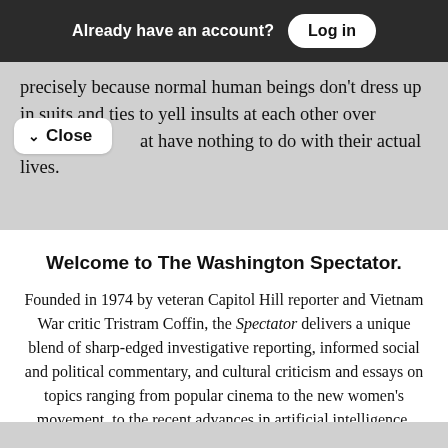Already have an account? Log in
precisely because normal human beings don't dress up in suits and ties to yell insults at each other over [things th]at have nothing to do with their actual lives.
✓ Close
Welcome to The Washington Spectator.
Founded in 1974 by veteran Capitol Hill reporter and Vietnam War critic Tristram Coffin, the Spectator delivers a unique blend of sharp-edged investigative reporting, informed social and political commentary, and cultural criticism and essays on topics ranging from popular cinema to the new women's movement, to the recent advances in artificial intelligence.